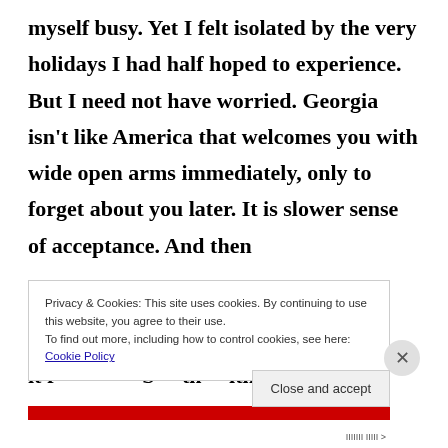myself busy. Yet I felt isolated by the very holidays I had half hoped to experience. But I need not have worried. Georgia isn't like America that welcomes you with wide open arms immediately, only to forget about you later. It is slower sense of acceptance. And then it f...
Privacy & Cookies: This site uses cookies. By continuing to use this website, you agree to their use.
To find out more, including how to control cookies, see here: Cookie Policy
Close and accept